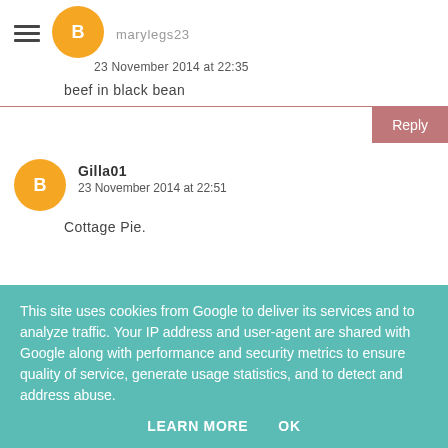marylegs23
23 November 2014 at 22:35
beef in black bean
Reply
Gilla01
23 November 2014 at 22:51
Cottage Pie.
This site uses cookies from Google to deliver its services and to analyze traffic. Your IP address and user-agent are shared with Google along with performance and security metrics to ensure quality of service, generate usage statistics, and to detect and address abuse.
LEARN MORE
OK